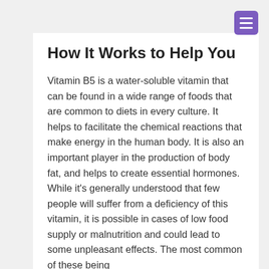How It Works to Help You
Vitamin B5 is a water-soluble vitamin that can be found in a wide range of foods that are common to diets in every culture. It helps to facilitate the chemical reactions that make energy in the human body. It is also an important player in the production of body fat, and helps to create essential hormones. While it's generally understood that few people will suffer from a deficiency of this vitamin, it is possible in cases of low food supply or malnutrition and could lead to some unpleasant effects. The most common of these being